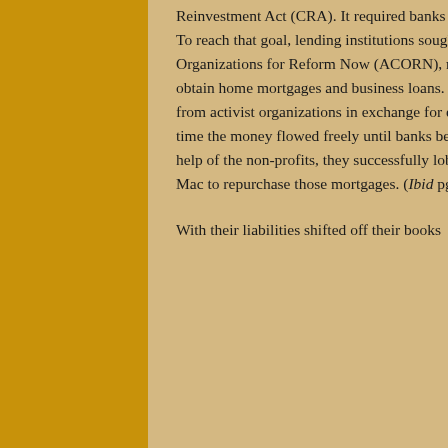Reinvestment Act (CRA). It required banks to show they were meeting the needs of the communities they served. To reach that goal, lending institutions sought the support of organizations like the Association of Community Organizations for Reform Now (ACORN), non-profit groups whose charters were to help low income people obtain home mortgages and business loans. What developed was a symbiotic connection. The banks got support from activist organizations in exchange for easier loans for those struggling to climb the economic ladder. For a time the money flowed freely until banks began to worry about the amount of debt on their books. So, with the help of the non-profits, they successfully lobbied Congress to pass a bill that required Fannie Mae and Freddie Mac to repurchase those mortgages. (Ibid pg. 106)

With their liabilities shifted off their books